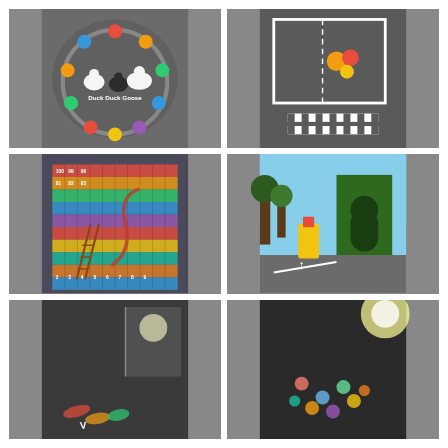[Figure (photo): Playground ground marking: Duck Duck Goose circle game with colorful dots and duck/goose illustrations painted on asphalt]
[Figure (photo): Playground road marking: white lines forming road layout with crosswalk/zebra crossing and colorful character markings on asphalt]
[Figure (photo): Playground ground marking: Snakes and Ladders board game painted on asphalt with colorful numbered grid from 1-100]
[Figure (photo): School playground area with green hedge wall featuring arch opening, yellow and red play structures, and road markings on asphalt]
[Figure (photo): Dark asphalt playground with colorful ground markings partially visible, taken at an angle]
[Figure (photo): Dark asphalt playground with colorful dot markings reflecting light, taken from low angle with sun glare]